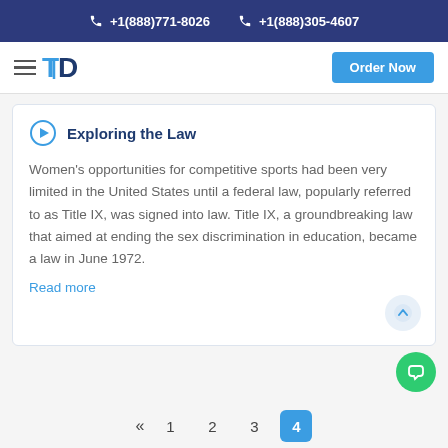+1(888)771-8026  +1(888)305-4607
[Figure (logo): TD logo and hamburger menu with Order Now button]
Exploring the Law
Women's opportunities for competitive sports had been very limited in the United States until a federal law, popularly referred to as Title IX, was signed into law. Title IX, a groundbreaking law that aimed at ending the sex discrimination in education, became a law in June 1972.
Read more
« 1 2 3 4